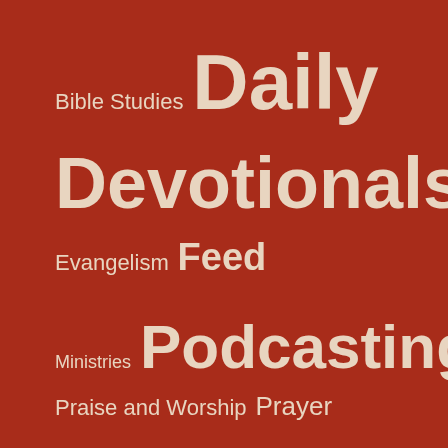[Figure (infographic): Word cloud / tag cloud on dark red background showing categories: Bible Studies, Daily, Devotionals, Evangelism, Feed, Ministries, Podcasting, Praise and Worship, Prayer, Preaching, Teaching, Video and Audio, Weekly Devotionals — with font sizes indicating relative frequency/importance]
Translate
Advertisements
[Figure (screenshot): WordPress.com advertisement banner with WordPress logo and 'Start Today' button on light purple background]